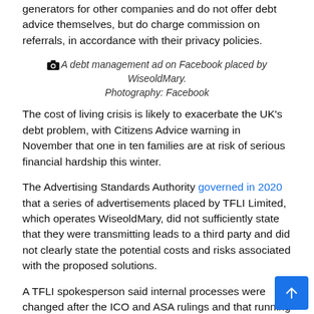generators for other companies and do not offer debt advice themselves, but do charge commission on referrals, in accordance with their privacy policies.
A debt management ad on Facebook placed by WiseoldMary. Photography: Facebook
The cost of living crisis is likely to exacerbate the UK's debt problem, with Citizens Advice warning in November that one in ten families are at risk of serious financial hardship this winter.
The Advertising Standards Authority governed in 2020 that a series of advertisements placed by TFLI Limited, which operates WiseoldMary, did not sufficiently state that they were transmitting leads to a third party and did not clearly state the potential costs and risks associated with the proposed solutions.
A TFLI spokesperson said internal processes were changed after the ICO and ASA rulings and that running a credit broker did not prevent the company from helping people in debt. .